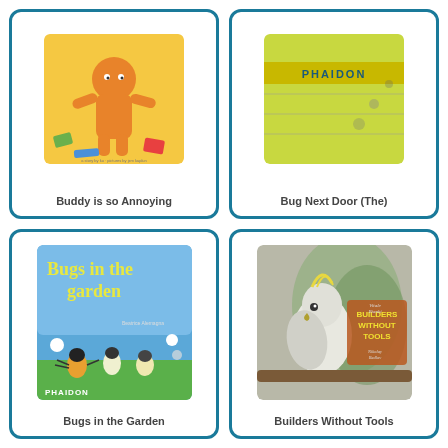[Figure (illustration): Book cover: Buddy is so Annoying - orange character on yellow background]
Buddy is so Annoying
[Figure (illustration): Book cover: Bug Next Door (The) - Phaidon green cover]
Bug Next Door (The)
[Figure (illustration): Book cover: Bugs in the Garden - animated bugs on blue background, Phaidon]
Bugs in the Garden
[Figure (illustration): Book cover: Builders Without Tools - bird on branch, vintage style cover]
Builders Without Tools